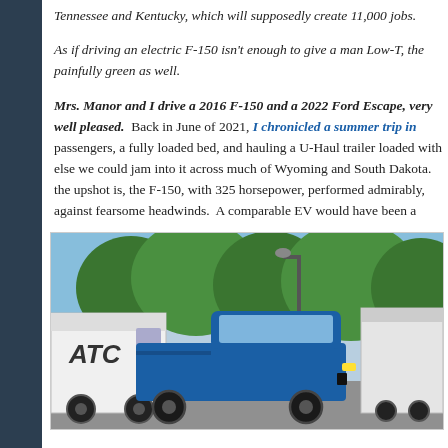Tennessee and Kentucky, which will supposedly create 11,000 jobs.
As if driving an electric F-150 isn't enough to give a man Low-T, the painfully green as well.
Mrs. Manor and I drive a 2016 F-150 and a 2022 Ford Escape, very well pleased. Back in June of 2021, I chronicled a summer trip in passengers, a fully loaded bed, and hauling a U-Haul trailer loaded with else we could jam into it across much of Wyoming and South Dakota. the upshot is, the F-150, with 325 horsepower, performed admirably, against fearsome headwinds. A comparable EV would have been a
[Figure (photo): A blue Ford F-150 truck in a parking lot, with a white van labeled ATC on the left and a trailer on the right, trees and blue sky in the background.]